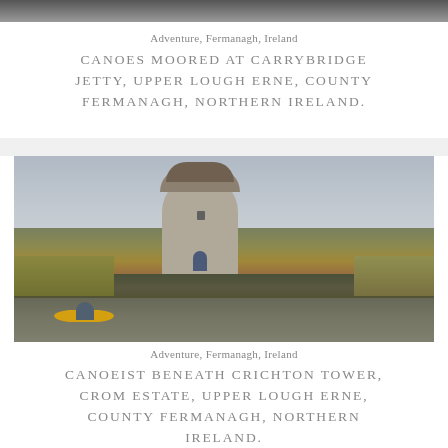[Figure (photo): Partial photo strip at top of page, cropped — canoes at Carrybridge Jetty]
Adventure, Fermanagh, Ireland
CANOES MOORED AT CARRYBRIDGE JETTY, UPPER LOUGH ERNE, COUNTY FERMANAGH, NORTHERN IRELAND.
[Figure (photo): Photo of a stone tower (Crichton Tower, Crom Estate) viewed from water with a yellow canoe and canoeist in the foreground, autumn foliage in the background, overcast sky.]
Adventure, Fermanagh, Ireland
CANOEIST BENEATH CRICHTON TOWER, CROM ESTATE, UPPER LOUGH ERNE, COUNTY FERMANAGH, NORTHERN IRELAND.